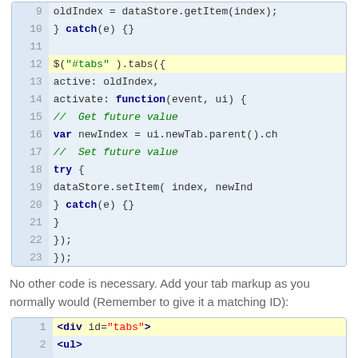[Figure (screenshot): Code block showing JavaScript lines 9-23 with syntax highlighting. Line 12 is highlighted yellow. Shows jQuery tabs initialization with active and activate callback.]
No other code is necessary. Add your tab markup as you normally would (Remember to give it a matching ID):
[Figure (screenshot): Code block showing HTML lines 1-8 with syntax highlighting. Line 1 is highlighted yellow. Shows div with id=tabs, ul with li items linking to #tabs-1, #tabs-2, #tabs-3, and a div with id=tabs-1.]